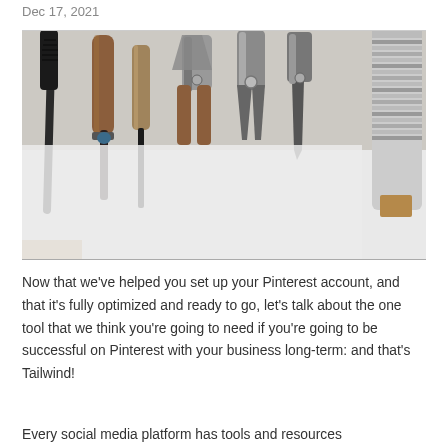Dec 17, 2021
[Figure (photo): A top-down photo of various crafting and leatherworking tools — awls, pliers, needles, and other hand tools — laid out on a white surface with a wooden edge visible.]
Now that we've helped you set up your Pinterest account, and that it's fully optimized and ready to go, let's talk about the one tool that we think you're going to need if you're going to be successful on Pinterest with your business long-term: and that's Tailwind!
Every social media platform has tools and resources